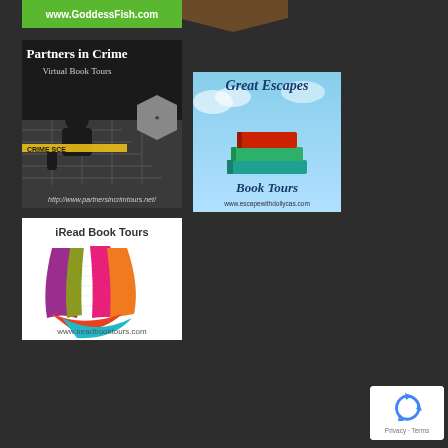[Figure (logo): Goddess Fish www.GoddessFish.com banner - partial view at top]
[Figure (logo): Arrow/chevron brown banner at top center]
[Figure (logo): Partners in Crime Virtual Book Tours banner with crime scene image and text http://www.partnersincrimtours.net/]
[Figure (logo): Great Escapes Book Tours banner with stacked books on sky background, www.escapewithdollycas.com]
[Figure (logo): iRead Book Tours logo with colorful book pages design, www.ireadbooktours.com]
[Figure (logo): reCAPTCHA badge - Privacy Terms]